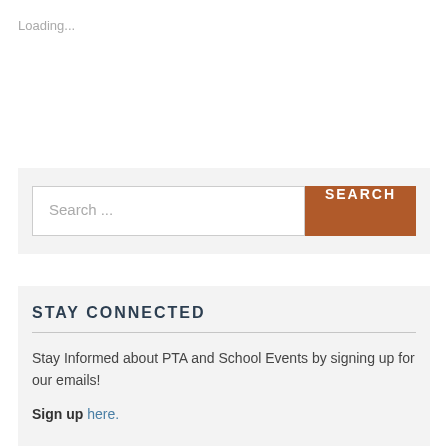Loading...
Search ...
STAY CONNECTED
Stay Informed about PTA and School Events by signing up for our emails!
Sign up here.